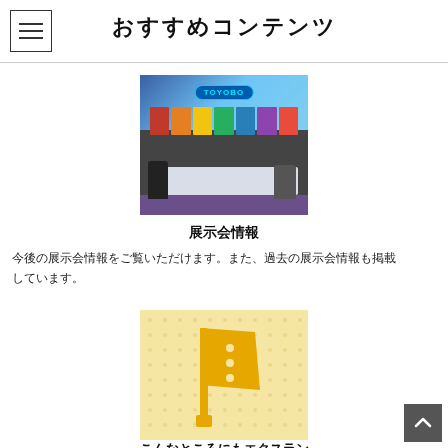おすすめコンテンツ
[Figure (photo): TOYOBO exhibition booth photo showing colorful display columns, a white desk/counter, and visitors in a trade show setting]
展示会情報
今後の展示会情報をご覧いただけます。また、過去の展示会情報も掲載しています。
[Figure (illustration): Yellow illustrated flag/banner icon on a dotted light yellow background]
こんなところにもエクスラン